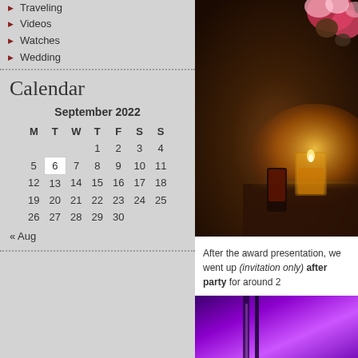Traveling
Videos
Watches
Wedding
Calendar
| M | T | W | T | F | S | S |
| --- | --- | --- | --- | --- | --- | --- |
|  |  |  | 1 | 2 | 3 | 4 |
| 5 | 6 | 7 | 8 | 9 | 10 | 11 |
| 12 | 13 | 14 | 15 | 16 | 17 | 18 |
| 19 | 20 | 21 | 22 | 23 | 24 | 25 |
| 26 | 27 | 28 | 29 | 30 |  |  |
« Aug
[Figure (photo): Dark atmospheric photo showing flowers and a lit candle on a table]
After the award presentation, we went up (invitation only) after party for around 2...
[Figure (photo): Purple/violet lit interior space]